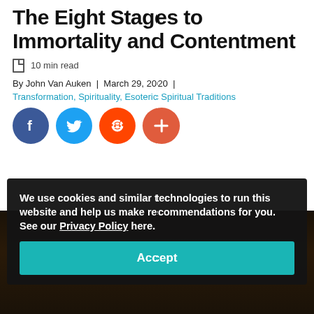The Eight Stages to Immortality and Contentment
10 min read
By John Van Auken | March 29, 2020 |
Transformation, Spirituality, Esoteric Spiritual Traditions
[Figure (other): Social sharing buttons: Facebook (blue circle), Twitter (blue circle), Reddit (orange circle), Plus/More (orange-red circle)]
We use cookies and similar technologies to run this website and help us make recommendations for you. See our Privacy Policy here.
Accept
[Figure (photo): Dark background image visible at bottom of page behind cookie overlay]